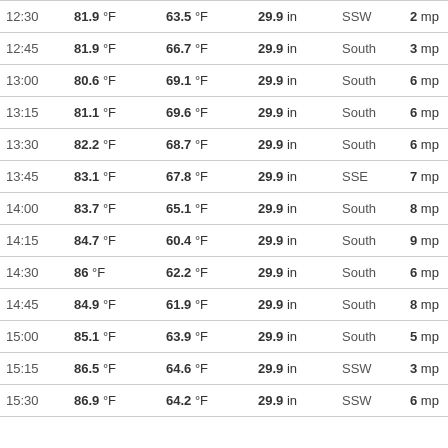| Time | Temp | Dew Point | Pressure | Wind Dir | Wind Speed |
| --- | --- | --- | --- | --- | --- |
| 12:30 | 81.9 °F | 63.5 °F | 29.9 in | SSW | 2 mp |
| 12:45 | 81.9 °F | 66.7 °F | 29.9 in | South | 3 mp |
| 13:00 | 80.6 °F | 69.1 °F | 29.9 in | South | 6 mp |
| 13:15 | 81.1 °F | 69.6 °F | 29.9 in | South | 6 mp |
| 13:30 | 82.2 °F | 68.7 °F | 29.9 in | South | 6 mp |
| 13:45 | 83.1 °F | 67.8 °F | 29.9 in | SSE | 7 mp |
| 14:00 | 83.7 °F | 65.1 °F | 29.9 in | South | 8 mp |
| 14:15 | 84.7 °F | 60.4 °F | 29.9 in | South | 9 mp |
| 14:30 | 86 °F | 62.2 °F | 29.9 in | South | 6 mp |
| 14:45 | 84.9 °F | 61.9 °F | 29.9 in | South | 8 mp |
| 15:00 | 85.1 °F | 63.9 °F | 29.9 in | South | 5 mp |
| 15:15 | 86.5 °F | 64.6 °F | 29.9 in | SSW | 3 mp |
| 15:30 | 86.9 °F | 64.2 °F | 29.9 in | SSW | 6 mp |